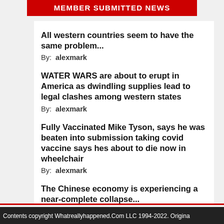MEMBER SUBMITTED NEWS
All western countries seem to have the same problem...
By:  alexmark
WATER WARS are about to erupt in America as dwindling supplies lead to legal clashes among western states
By:  alexmark
Fully Vaccinated Mike Tyson, says he was beaten into submission taking covid vaccine says hes about to die now in wheelchair
By:  alexmark
The Chinese economy is experiencing a near-complete collapse...
By:  alexmark
IRS Agents Training to Raid Homes
Contents copyright Whatreallyhappened.Com LLC 1994-2022. Origina